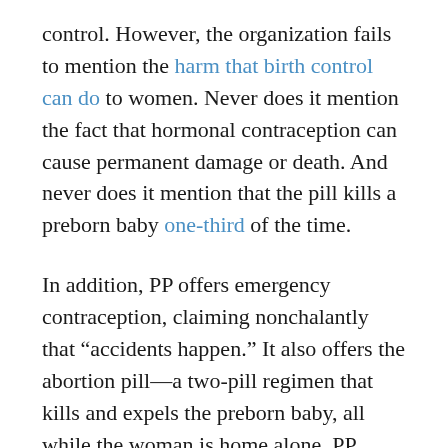control. However, the organization fails to mention the harm that birth control can do to women. Never does it mention the fact that hormonal contraception can cause permanent damage or death. And never does it mention that the pill kills a preborn baby one-third of the time.
In addition, PP offers emergency contraception, claiming nonchalantly that “accidents happen.” It also offers the abortion pill—a two-pill regimen that kills and expels the preborn baby, all while the woman is home alone. PP doesn’t mention the dangerous side effects of the abortion pill for the mother or the fact that hemorrhaging and other problems can send her to the emergency room.